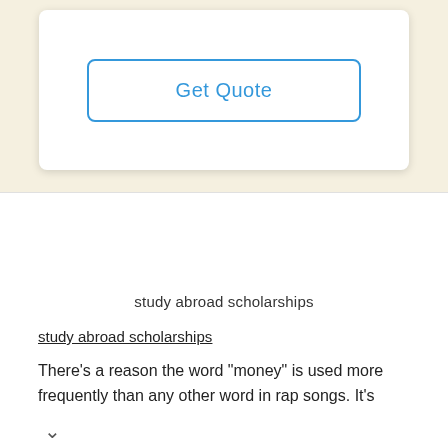[Figure (screenshot): Get Quote button with blue border on white card panel with beige background]
study abroad scholarships
study abroad scholarships
There’s a reason the word “money” is used more frequently than any other word in rap songs. It’s